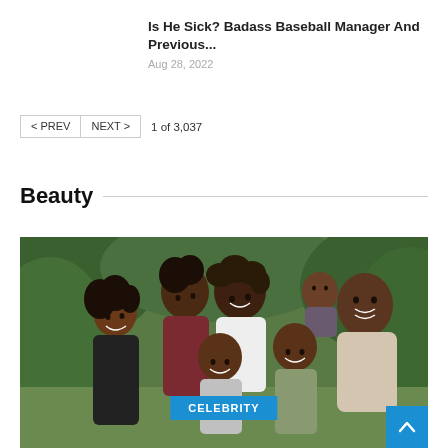Is He Sick? Badass Baseball Manager And Previous...
Aug 28, 2022
< PREV   NEXT >   1 of 3,037
Beauty
[Figure (photo): Family photo of a Black family with several children and two adults smiling outdoors in front of green foliage. A small white box with 'FORTY' logo watermark is in the top-left of the image. A blue 'CELEBRITY' badge overlays the bottom center. A blue scroll-to-top button is in the bottom-right corner.]